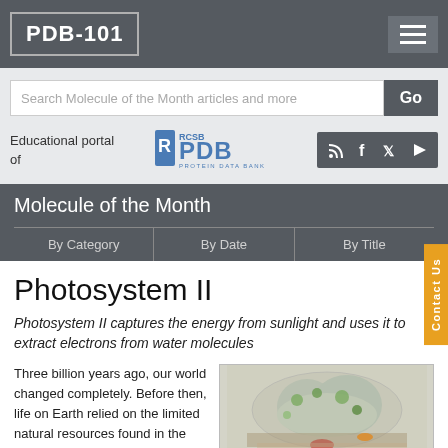PDB-101
Search Molecule of the Month articles and more
Educational portal of
[Figure (logo): RCSB PDB Protein Data Bank logo]
Molecule of the Month
By Category
By Date
By Title
Photosystem II
Photosystem II captures the energy from sunlight and uses it to extract electrons from water molecules
Three billion years ago, our world changed completely. Before then, life on Earth relied on the limited natural resources found in the local
[Figure (illustration): 3D molecular structure illustration of Photosystem II protein complex, shown in space-filling representation with green, white, and red colored regions]